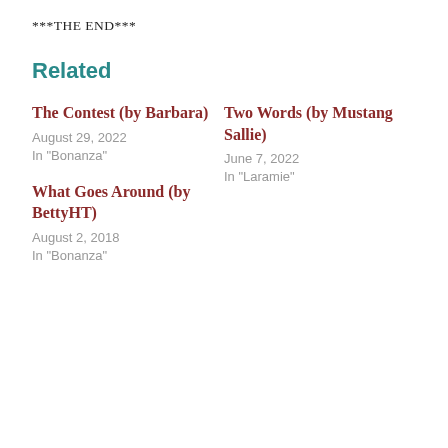***THE END***
Related
The Contest (by Barbara)
August 29, 2022
In "Bonanza"
Two Words (by Mustang Sallie)
June 7, 2022
In "Laramie"
What Goes Around (by BettyHT)
August 2, 2018
In "Bonanza"